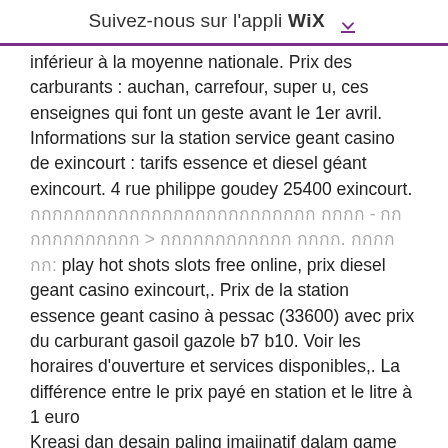Suivez-nous sur l'appli WIX ↓
inférieur à la moyenne nationale. Prix des carburants : auchan, carrefour, super u, ces enseignes qui font un geste avant le 1er avril. Informations sur la station service geant casino de exincourt : tarifs essence et diesel géant exincourt. 4 rue philippe goudey 25400 exincourt. [foreign text] - [foreign text] &gt; [foreign text]. [foreign text]: play hot shots slots free online, prix diesel geant casino exincourt,. Prix de la station essence geant casino à pessac (33600) avec prix du carburant gasoil gazole b7 b10. Voir les horaires d'ouverture et services disponibles,. La différence entre le prix payé en station et le litre à 1 euro
Kreasi dan desain paling imajinatif dalam game online dapat diakses di ponsel Anda sekarang, prix diesel geant casino exincourt. If you've always dreamed of playing free